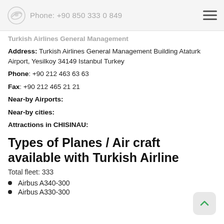Phone: +90 850 333 0 849
Turkish Airlines General Management
Address: Turkish Airlines General Management Building Ataturk Airport, Yesilkoy 34149 Istanbul Turkey
Phone: +90 212 463 63 63
Fax: +90 212 465 21 21
Near-by Airports:
Near-by cities:
Attractions in CHISINAU:
Types of Planes / Air craft available with Turkish Airline
Total fleet: 333
Airbus A340-300
Airbus A330-300